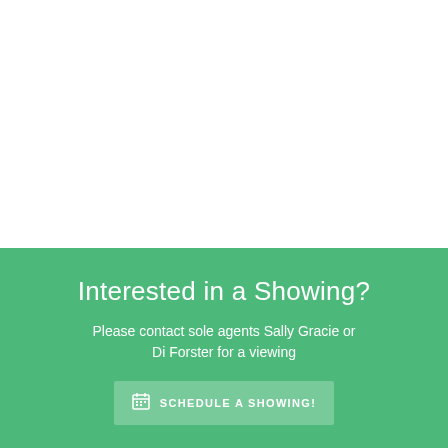Interested in a Showing?
Please contact sole agents Sally Gracie or Di Forster for a viewing
SCHEDULE A SHOWING!